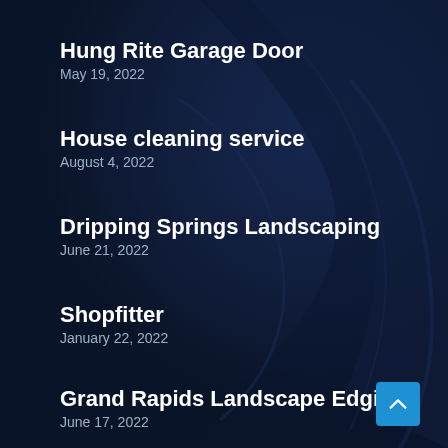Hung Rite Garage Door
May 19, 2022
House cleaning service
August 4, 2022
Dripping Springs Landscaping
June 21, 2022
Shopfitter
January 22, 2022
Grand Rapids Landscape Edging
June 17, 2022